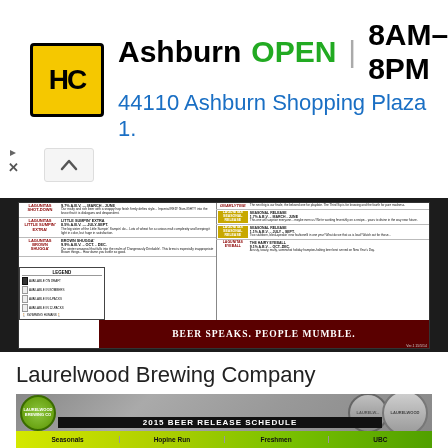[Figure (infographic): HC logo ad banner: Ashburn OPEN 8AM-8PM, 44110 Ashburn Shopping Plaza 1., with navigation arrow icon and ad controls]
[Figure (infographic): Lagunitas Brewing Company beer release schedule chart with multiple beer entries, legend, and slogan 'Beer Speaks. People Mumble.' Ver.1 15/5/14]
Laurelwood Brewing Company
[Figure (infographic): Laurelwood Brewing Company 2015 Beer Release Schedule image with logo, bottle caps, and colored column headers]